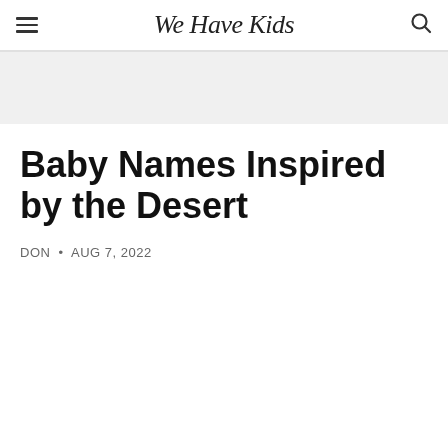We Have Kids
Baby Names Inspired by the Desert
DON • AUG 7, 2022